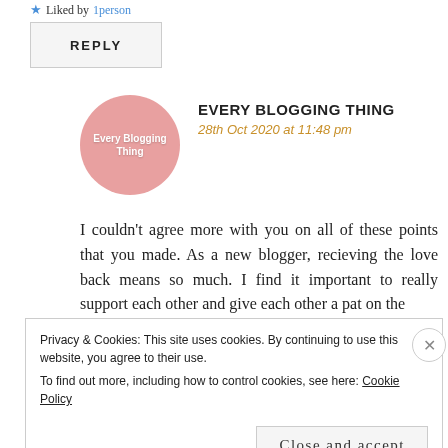Liked by 1person
REPLY
[Figure (illustration): Pink circular avatar with white text 'Every Blogging Thing']
EVERY BLOGGING THING
28th Oct 2020 at 11:48 pm
I couldn't agree more with you on all of these points that you made. As a new blogger, recieving the love back means so much. I find it important to really support each other and give each other a pat on the
Privacy & Cookies: This site uses cookies. By continuing to use this website, you agree to their use.
To find out more, including how to control cookies, see here: Cookie Policy
Close and accept